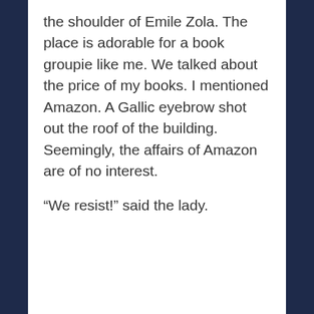the shoulder of Emile Zola. The place is adorable for a book groupie like me. We talked about the price of my books. I mentioned Amazon. A Gallic eyebrow shot out the roof of the building. Seemingly, the affairs of Amazon are of no interest.
“We resist!” said the lady.
[Figure (photo): A photograph of a wooden bookshelf with books on multiple shelves. On the upper shelf, a book titled 'THE LITTLE FRIEND' is visible, along with other books and a small wooden step stool. On the lower shelf, books including 'LOVE IS A HOPELESS PLACE' and 'LEON' are visible.]